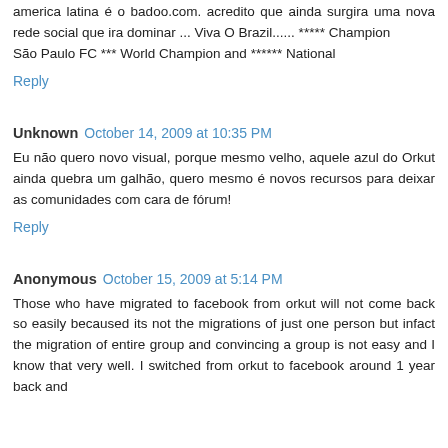america latina é o badoo.com. acredito que ainda surgira uma nova rede social que ira dominar ... Viva O Brazil...... ***** Champion
São Paulo FC *** World Champion and ****** National
Reply
Unknown  October 14, 2009 at 10:35 PM
Eu não quero novo visual, porque mesmo velho, aquele azul do Orkut ainda quebra um galhão, quero mesmo é novos recursos para deixar as comunidades com cara de fórum!
Reply
Anonymous  October 15, 2009 at 5:14 PM
Those who have migrated to facebook from orkut will not come back so easily becaused its not the migrations of just one person but infact the migration of entire group and convincing a group is not easy and I know that very well. I switched from orkut to facebook around 1 year back and